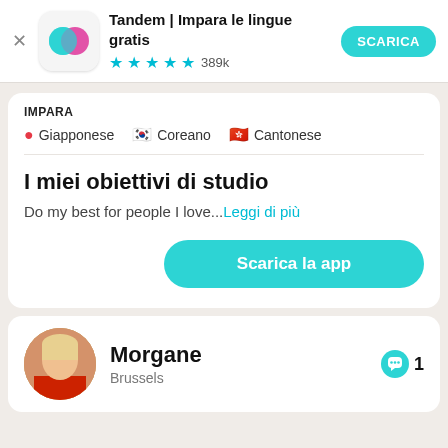[Figure (screenshot): Tandem app icon with overlapping teal and pink circles on white rounded square background]
Tandem | Impara le lingue gratis
★★★★½ 389k
SCARICA
IMPARA
🔴 Giapponese
🇰🇷 Coreano
🇭🇰 Cantonese
I miei obiettivi di studio
Do my best for people I love...Leggi di più
Scarica la app
[Figure (photo): Profile photo of Morgane, a woman with blonde hair wearing red, from Brussels]
Morgane
Brussels
💬 1